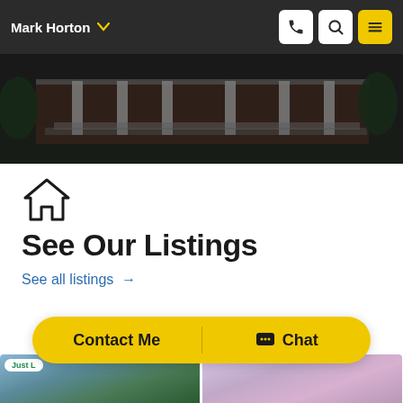Mark Horton
[Figure (photo): Exterior photo of a brick building with white columns and steps, with trees and shrubs in the foreground, darkened overlay]
[Figure (illustration): House/home icon (outline of a house shape)]
See Our Listings
See all listings →
Just L...
Contact Me
Chat
[Figure (photo): Two property listing thumbnail photos at the bottom — left shows a landscape with trees and sky, right shows flowering trees]